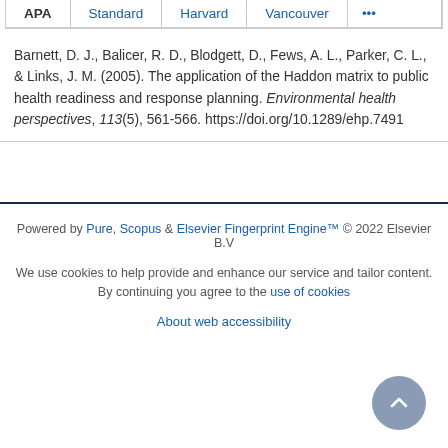APA | Standard | Harvard | Vancouver | ...
Barnett, D. J., Balicer, R. D., Blodgett, D., Fews, A. L., Parker, C. L., & Links, J. M. (2005). The application of the Haddon matrix to public health readiness and response planning. Environmental health perspectives, 113(5), 561-566. https://doi.org/10.1289/ehp.7491
Powered by Pure, Scopus & Elsevier Fingerprint Engine™ © 2022 Elsevier B.V
We use cookies to help provide and enhance our service and tailor content. By continuing you agree to the use of cookies
About web accessibility